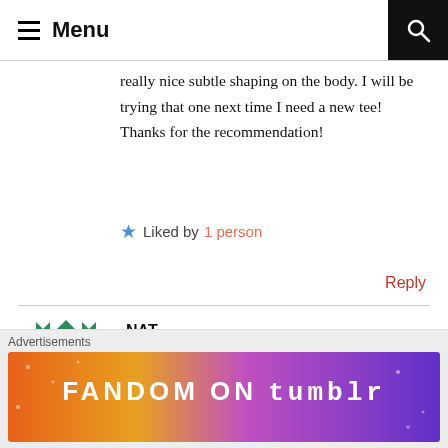Menu
really nice subtle shaping on the body. I will be trying that one next time I need a new tee! Thanks for the recommendation!
★ Liked by 1 person
Reply
NAT
August 22, 2020 at 3:21 pm
There is also the glorious Mandy Boat Tee from Tessutti which I've made a tonne of. I
Advertisements
[Figure (illustration): Fandom on Tumblr advertisement banner with colorful gradient background (orange to purple) and white text reading FANDOM ON tumblr]